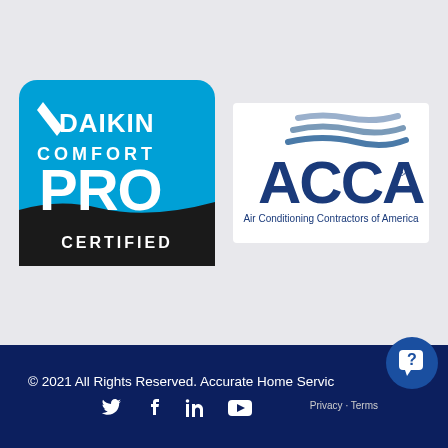[Figure (logo): Daikin Comfort Pro Certified badge — blue rounded square with white checkmark/Daikin logo, 'COMFORT' text, large 'PRO' text, and black bottom band with 'CERTIFIED']
[Figure (logo): ACCA logo — Air Conditioning Contractors of America, with three blue wave lines above triangle shape and 'ACCA.' text with tagline]
© 2021 All Rights Reserved. Accurate Home Servic